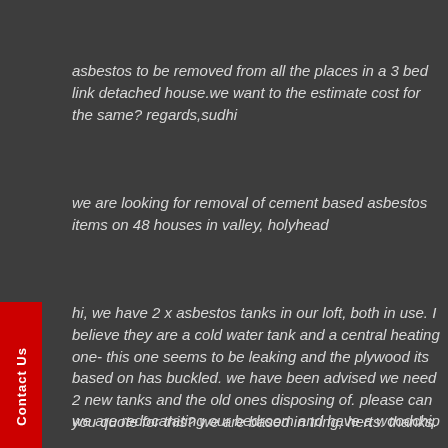asbestos to be removed from all the places in a 3 bed link detached house.we want to the estimate cost for the same? regards,sudhi
we are looking for removal of cement based asbestos items on 48 houses in valley, holyhead
hi, we have 2 x asbestos tanks in our loft, both in use. I believe they are a cold water tank and a central heating one- this one seems to be leaking and the plywood its based on has buckled. we have been advised we need 2 new tanks and the old ones disposing of. please can you quote for this? we are based in tring, herts. thanks.
we are redocarating our bedroom and have a woodchip